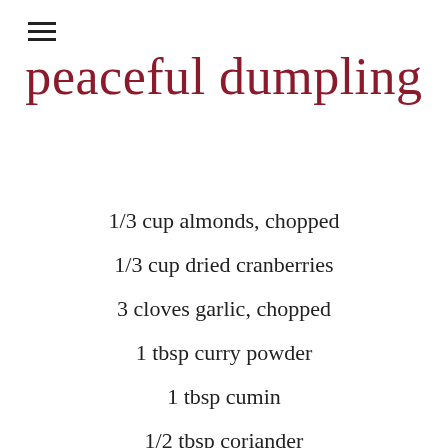peaceful dumpling
1/3 cup almonds, chopped
1/3 cup dried cranberries
3 cloves garlic, chopped
1 tbsp curry powder
1 tbsp cumin
1/2 tbsp coriander
1 tsp cinnamon
sea salt and pepper to taste